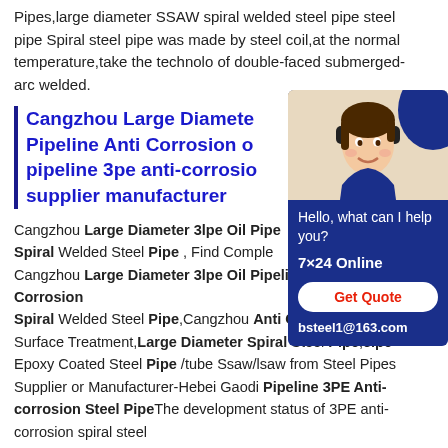Pipes,large diameter SSAW spiral welded steel pipe steel pipe Spiral steel pipe was made by steel coil,at the normal temperature,take the technology of double-faced submerged-arc welded.
Cangzhou Large Diameter Pipeline Anti Corrosion of pipeline 3pe anti-corrosion supplier manufacturer
Cangzhou Large Diameter 3lpe Oil Pipeline Anti Corrosion Spiral Welded Steel Pipe , Find Complete Cangzhou Large Diameter 3lpe Oil Pipeline Anti Corrosion Spiral Welded Steel Pipe,Cangzhou Anti Corrosion Surface Treatment,Large Diameter Spiral Steel Pipe,3lpe Epoxy Coated Steel Pipe /tube Ssaw/lsaw from Steel Pipes Supplier or Manufacturer-Hebei Gaodi Pipeline 3PE Anti-corrosion Steel PipeThe development status of 3PE anti-corrosion spiral steel
[Figure (photo): Chat widget with a female customer service representative wearing a headset, with blue background, showing greeting text 'Hello, what can I help you?', '7x24 Online', 'Get Quote' button, and email 'bsteel1@163.com']